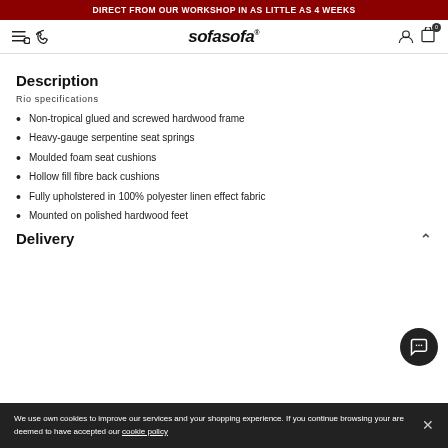DIRECT FROM OUR WORKSHOP IN AS LITTLE AS 4 WEEKS
[Figure (logo): sofasofa logo with navigation icons (hamburger/search, phone, user, cart with 0 badge)]
Description
Rio specifications
Non-tropical glued and screwed hardwood frame
Heavy-gauge serpentine seat springs
Moulded foam seat cushions
Hollow fill fibre back cushions
Fully upholstered in 100% polyester linen effect fabric
Mounted on polished hardwood feet
Delivery
We use own cookies to improve our services and your shopping experience. If you continue browsing your are deemed to have accepted our cookie policy